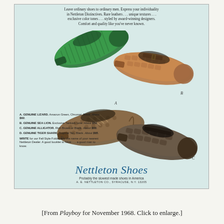[Figure (photo): Vintage Nettleton Shoes advertisement from Playboy November 1968. Shows four luxury men's shoes on a light blue-green background: A) green genuine lizard shoe (top left), B) tan genuine sea lion shoe with buckle (top right), C) dark genuine alligator loafer (bottom right), D) brown genuine tiger shark wingtip oxford (bottom center). Descriptions of each shoe listed in lower left. Nettleton Shoes branding with cursive logo at bottom.]
[From Playboy for November 1968. Click to enlarge.]